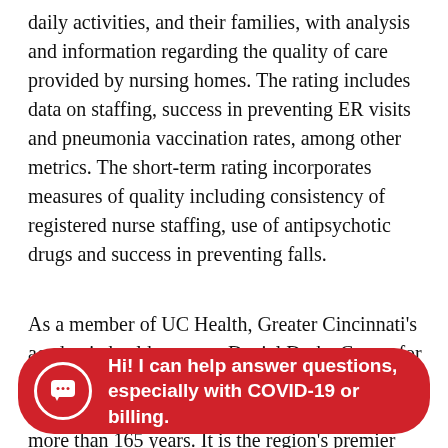daily activities, and their families, with analysis and information regarding the quality of care provided by nursing homes. The rating includes data on staffing, success in preventing ER visits and pneumonia vaccination rates, among other metrics. The short-term rating incorporates measures of quality including consistency of registered nurse staffing, use of antipsychotic drugs and success in preventing falls.
As a member of UC Health, Greater Cincinnati's academic health system, Daniel Drake Center for Post-Acute Care has served the Greater Cincinnati and Northern Kentucky region for more than 165 years. It is the region's premier provider of post-acute and transitional care, including inpatient rehabilitation, complex care, skilled nursing, assisted living, wellness
[Figure (other): Red chat widget overlay with speech bubble icon and text: 'Hi! I can help answer questions, especially with COVID-19 or billing.']